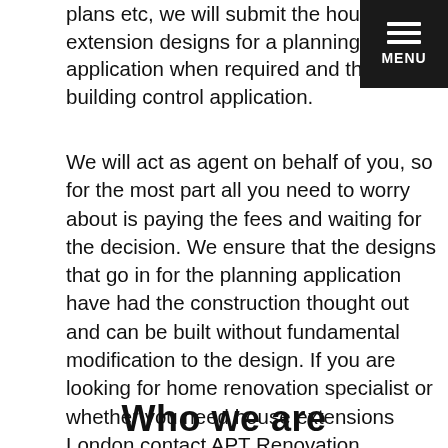plans etc, we will submit the house extension designs for a planning application when required and the building control application.
[Figure (other): Black hamburger menu button with three white horizontal lines and white MENU label below]
We will act as agent on behalf of you, so for the most part all you need to worry about is paying the fees and waiting for the decision. We ensure that the designs that go in for the planning application have had the construction thought out and can be built without fundamental modification to the design. If you are looking for home renovation specialist or whether you need house extensions London contact APT Renovation.
Who we are